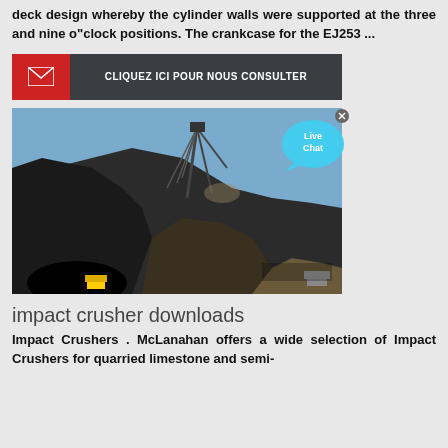deck design whereby the cylinder walls were supported at the three and nine o"clock positions. The crankcase for the EJ253 ...
[Figure (other): Red and dark grey call-to-action banner with envelope icon and French text: CLIQUEZ ICI POUR NOUS CONSULTER]
[Figure (photo): Outdoor excavation/mining site photograph showing a large dragline crane machine working on a dark rocky hillside against a blue sky]
[Figure (other): Live Chat speech bubble widget in blue]
impact crusher downloads
Impact Crushers . McLanahan offers a wide selection of Impact Crushers for quarried limestone and semi-